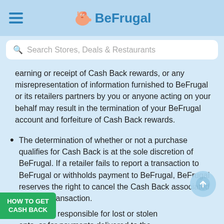BeFrugal
Search Stores, Deals & Restaurants
earning or receipt of Cash Back rewards, or any misrepresentation of information furnished to BeFrugal or its retailers partners by you or anyone acting on your behalf may result in the termination of your BeFrugal account and forfeiture of Cash Back rewards.
The determination of whether or not a purchase qualifies for Cash Back is at the sole discretion of BeFrugal. If a retailer fails to report a transaction to BeFrugal or withholds payment to BeFrugal, BeFrugal reserves the right to cancel the Cash Back associated with that transaction.
ugal is not responsible for lost or stolen ents, or for payments delivered to the
HOW TO GET CASH BACK